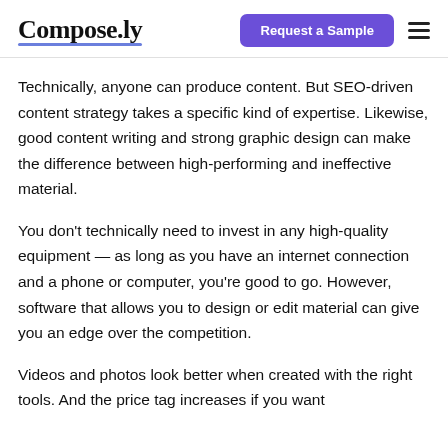Compose.ly | Request a Sample
Technically, anyone can produce content. But SEO-driven content strategy takes a specific kind of expertise. Likewise, good content writing and strong graphic design can make the difference between high-performing and ineffective material.
You don’t technically need to invest in any high-quality equipment — as long as you have an internet connection and a phone or computer, you’re good to go. However, software that allows you to design or edit material can give you an edge over the competition.
Videos and photos look better when created with the right tools. And the price tag increases if you want